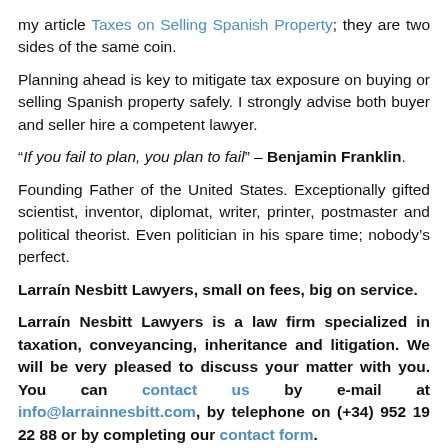my article Taxes on Selling Spanish Property; they are two sides of the same coin.
Planning ahead is key to mitigate tax exposure on buying or selling Spanish property safely. I strongly advise both buyer and seller hire a competent lawyer.
“If you fail to plan, you plan to fail” – Benjamin Franklin.
Founding Father of the United States. Exceptionally gifted scientist, inventor, diplomat, writer, printer, postmaster and political theorist. Even politician in his spare time; nobody’s perfect.
Larraín Nesbitt Lawyers, small on fees, big on service.
Larraín Nesbitt Lawyers is a law firm specialized in taxation, conveyancing, inheritance and litigation. We will be very pleased to discuss your matter with you. You can contact us by e-mail at info@larrainnesbitt.com, by telephone on (+34) 952 19 22 88 or by completing our contact form.